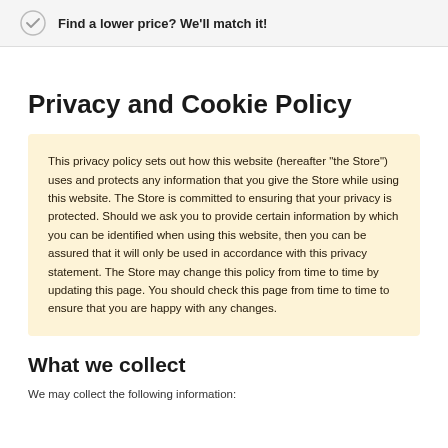Find a lower price? We'll match it!
Privacy and Cookie Policy
This privacy policy sets out how this website (hereafter "the Store") uses and protects any information that you give the Store while using this website. The Store is committed to ensuring that your privacy is protected. Should we ask you to provide certain information by which you can be identified when using this website, then you can be assured that it will only be used in accordance with this privacy statement. The Store may change this policy from time to time by updating this page. You should check this page from time to time to ensure that you are happy with any changes.
What we collect
We may collect the following information: